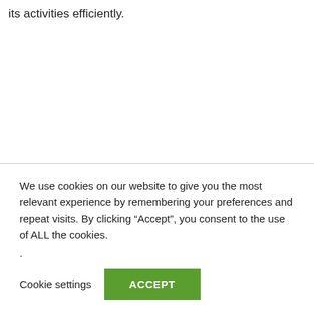its activities efficiently.
We use cookies on our website to give you the most relevant experience by remembering your preferences and repeat visits. By clicking “Accept”, you consent to the use of ALL the cookies.
.
Cookie settings  ACCEPT